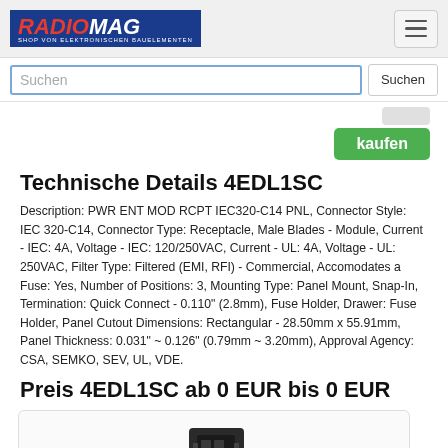RADIOMAG - SHOP VON ELEKTRONISCHEN BAUELEMENTEN
Suchen
kaufen
Technische Details 4EDL1SC
Description: PWR ENT MOD RCPT IEC320-C14 PNL, Connector Style: IEC 320-C14, Connector Type: Receptacle, Male Blades - Module, Current - IEC: 4A, Voltage - IEC: 120/250VAC, Current - UL: 4A, Voltage - UL: 250VAC, Filter Type: Filtered (EMI, RFI) - Commercial, Accomodates a Fuse: Yes, Number of Positions: 3, Mounting Type: Panel Mount, Snap-In, Termination: Quick Connect - 0.110" (2.8mm), Fuse Holder, Drawer: Fuse Holder, Panel Cutout Dimensions: Rectangular - 28.50mm x 55.91mm, Panel Thickness: 0.031" ~ 0.126" (0.79mm ~ 3.20mm), Approval Agency: CSA, SEMKO, SEV, UL, VDE.
Preis 4EDL1SC ab 0 EUR bis 0 EUR
[Figure (photo): Product photo of 4EDL1SC component, dark colored module]